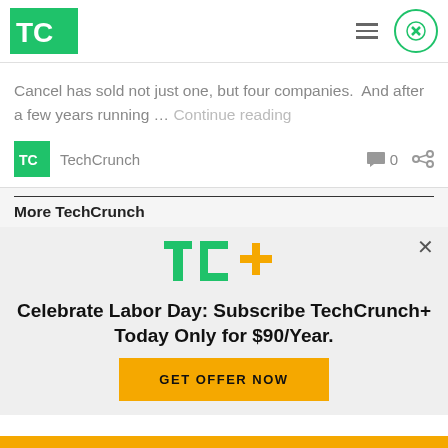TechCrunch logo, hamburger menu, close button
Cancel has sold not just one, but four companies.  And after a few years running … Continue reading
TechCrunch  0 [comment icon] [share icon]
More TechCrunch
[Figure (logo): TC+ logo with green TC and yellow plus sign]
Celebrate Labor Day: Subscribe TechCrunch+ Today Only for $90/Year.
GET OFFER NOW